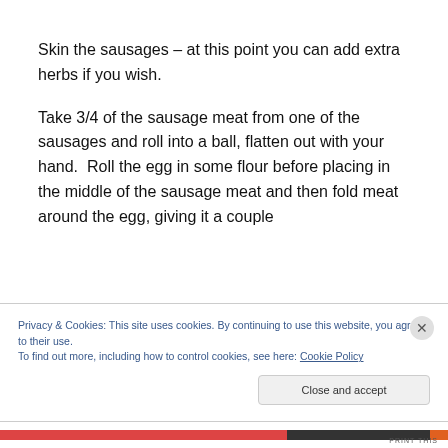Skin the sausages – at this point you can add extra herbs if you wish.
Take 3/4 of the sausage meat from one of the sausages and roll into a ball, flatten out with your hand.  Roll the egg in some flour before placing in the middle of the sausage meat and then fold meat around the egg, giving it a couple
Privacy & Cookies: This site uses cookies. By continuing to use this website, you agree to their use.
To find out more, including how to control cookies, see here: Cookie Policy
Close and accept